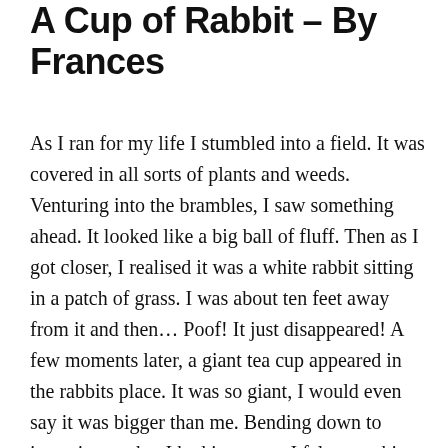A Cup of Rabbit – By Frances
As I ran for my life I stumbled into a field. It was covered in all sorts of plants and weeds. Venturing into the brambles, I saw something ahead. It looked like a big ball of fluff. Then as I got closer, I realised it was a white rabbit sitting in a patch of grass. I was about ten feet away from it and then… Poof! It just disappeared! A few moments later, a giant tea cup appeared in the rabbits place. It was so giant, I would even say it was bigger than me. Bending down to investigate what I had just seen, I felt something pounce on me from behind, knocking me out cold…